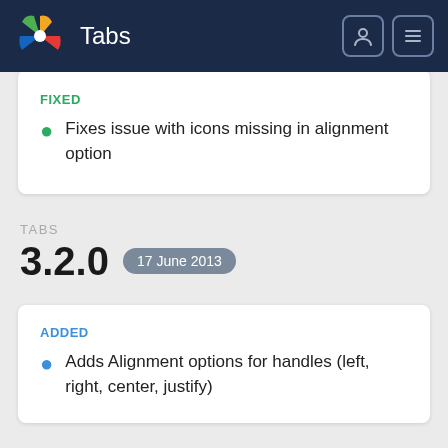Tabs
FIXED
Fixes issue with icons missing in alignment option
TABS
3.2.0  17 June 2013
ADDED
Adds Alignment options for handles (left, right, center, justify)